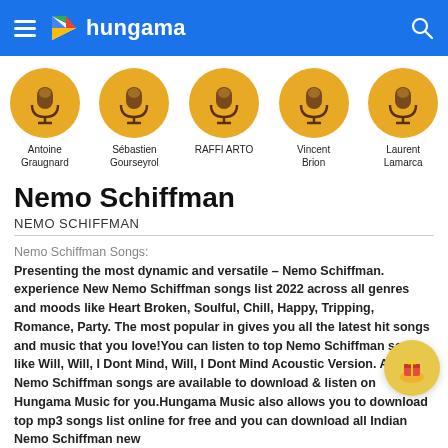Hungama
[Figure (illustration): Five artist profile circles with microphone icons: Antoine Graugnard, Sébastien Gourseyrol, RAFFI ARTO, Vincent Brion, Laurent Lamarca]
Nemo Schiffman
NEMO SCHIFFMAN
Nemo Schiffman Songs:
Presenting the most dynamic and versatile – Nemo Schiffman. experience New Nemo Schiffman songs list 2022 across all genres and moods like Heart Broken, Soulful, Chill, Happy, Tripping, Romance, Party. The most popular in gives you all the latest hit songs and music that you love!You can listen to top Nemo Schiffman songs like Will, Will, I Dont Mind, Will, I Dont Mind Acoustic Version. All latest Nemo Schiffman songs are available to download & listen on Hungama Music for you.Hungama Music also allows you to download top mp3 songs list online for free and you can download all Indian Nemo Schiffman new